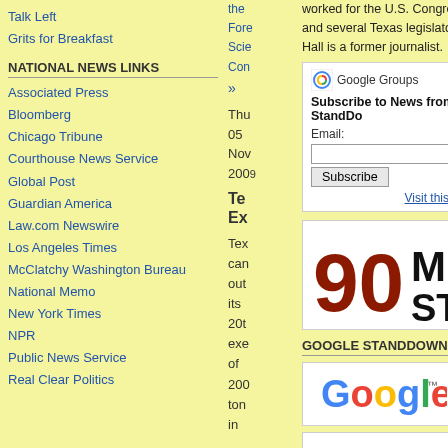Talk Left
Grits for Breakfast
NATIONAL NEWS LINKS
Associated Press
Bloomberg
Chicago Tribune
Courthouse News Service
Global Post
Guardian America
Law.com Newswire
Los Angeles Times
McClatchy Washington Bureau
National Memo
New York Times
NPR
Public News Service
Real Clear Politics
the Fore Scie Con »
Thu 05 Nov 2009
Te Ex
Tex can out its 20t exe of 200 ton in
worked for the U.S. Congress and several Texas legislators. Hall is a former journalist.
| Google Groups logo | Google Groups |
| Subscribe to News from StandDo |  |
| Email: |  |
| [input field] |  |
| Subscribe button |  |
| Visit this gr |  |
[Figure (logo): 90 MII STI logo in dark red and black]
GOOGLE STANDDOWN
[Figure (logo): Google logo with trademark symbol]
[Figure (other): White box with border at bottom of right column]